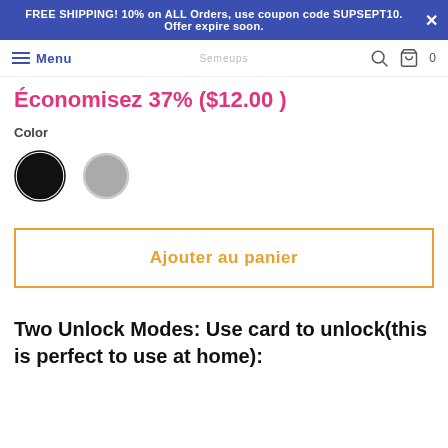FREE SHIPPING! 10% on ALL Orders, use coupon code SUPSEPT10. Offer expire soon.
Menu | [logo] | [search] | [cart] 0
Économisez 37% ($12.00 )
Color
[Figure (other): Two color swatches: black (selected, with ring outline) and gray]
Ajouter au panier
Two Unlock Modes: Use card to unlock(this is perfect to use at home):